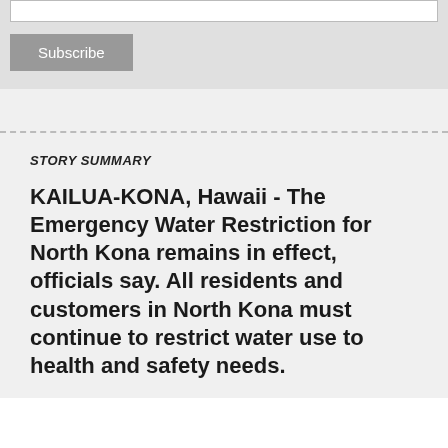[Figure (screenshot): Input field (white text box) and Subscribe button on grey background]
STORY SUMMARY
KAILUA-KONA, Hawaii - The Emergency Water Restriction for North Kona remains in effect, officials say. All residents and customers in North Kona must continue to restrict water use to health and safety needs.